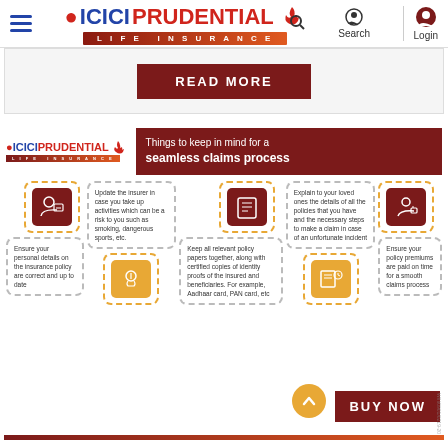[Figure (logo): ICICI Prudential Life Insurance logo with hamburger menu, search and login icons in navigation bar]
READ MORE
[Figure (infographic): ICICI Prudential Life Insurance infographic titled 'Things to keep in mind for a seamless claims process' with 5 tips shown with icons and text cards]
Update the insurer in case you take up activities which can be a risk to you such as smoking, dangerous sports, etc.
Keep all relevant policy papers together, along with certified copies of identity proofs of the insured and beneficiaries. For example, Aadhaar card, PAN card, etc
Explain to your loved ones the details of all the policies that you have and the necessary steps to make a claim in case of an unfortunate incident
Ensure your personal details on the insurance policy are correct and up to date
Ensure your policy premiums are paid on time for a smooth claims process
BUY NOW